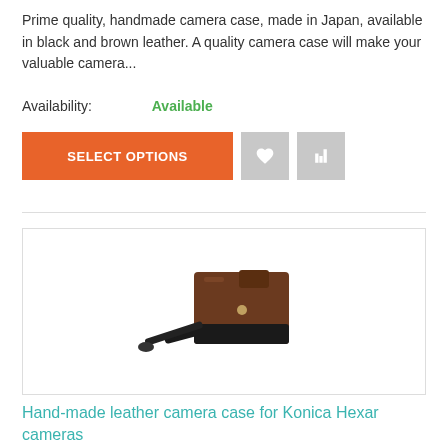Prime quality, handmade camera case, made in Japan, available in black and brown leather. A quality camera case will make your valuable camera...
Availability: Available
[Figure (screenshot): Orange SELECT OPTIONS button with two grey icon buttons (heart and bar chart) to the right]
[Figure (photo): Product photo of a hand-made leather camera case in black and brown, with a strap, inside a bordered card]
Hand-made leather camera case for Konica Hexar cameras